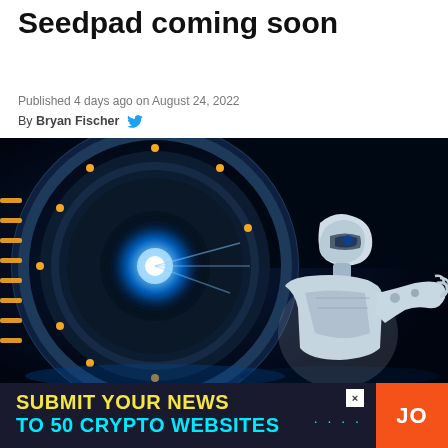Seedpad coming soon
Published 4 days ago on August 24, 2022
By Bryan Fischer
[Figure (photo): A humanoid robot reaching toward a glowing blue mechanical portal/wheel device on a dark background]
SUBMIT YOUR NEWS TO 50 CRYPTO WEBSITES